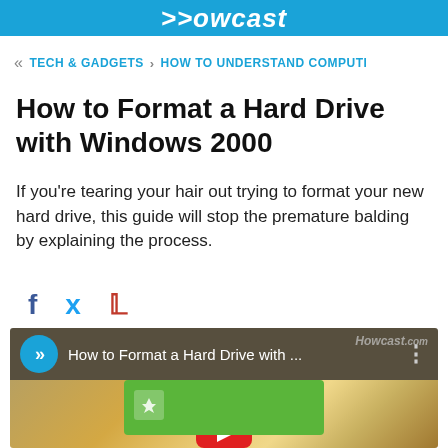Howcast
« TECH & GADGETS › HOW TO UNDERSTAND COMPUTI
How to Format a Hard Drive with Windows 2000
If you're tearing your hair out trying to format your new hard drive, this guide will stop the premature balding by explaining the process.
[Figure (screenshot): Social share icons: Facebook (f), Twitter (bird), Pinterest (p)]
[Figure (screenshot): Video thumbnail for 'How to Format a Hard Drive with ...' showing Howcast player with blue play circle, golden background, green card with lightbulb icon, and YouTube play button. Howcast.com watermark visible.]